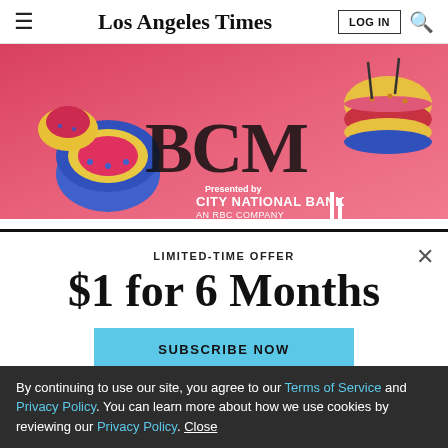Los Angeles Times
[Figure (illustration): Colorful advertisement banner with cartoon food illustrations (sushi, burger) and text 'City National Bank – An RBC Company']
For NBC, the renewal of DeGeneres is the second big
LIMITED-TIME OFFER
$1 for 6 Months
SUBSCRIBE NOW
By continuing to use our site, you agree to our Terms of Service and Privacy Policy. You can learn more about how we use cookies by reviewing our Privacy Policy. Close